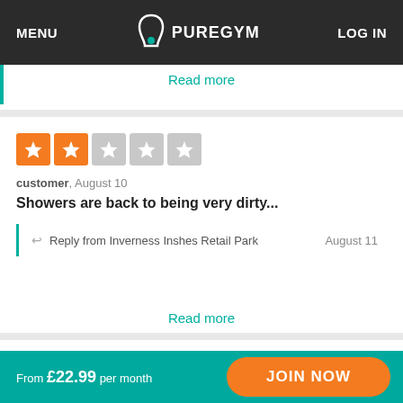MENU | PUREGYM | LOG IN
Read more
[Figure (other): 2-star rating widget with 2 orange filled stars and 3 grey empty stars]
customer, August 10
Showers are back to being very dirty...
Reply from Inverness Inshes Retail Park   August 11
Read more
[Figure (other): 5-star rating widget with 5 green filled stars]
From £22.99 per month   JOIN NOW